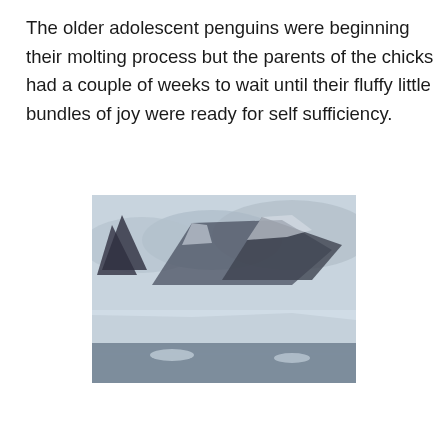The older adolescent penguins were beginning their molting process but the parents of the chicks had a couple of weeks to wait until their fluffy little bundles of joy were ready for self sufficiency.
[Figure (photo): Antarctic landscape photo showing icy mountains and water in muted blue-grey tones, with dark rocky outcrops and what appears to be snow and ice formations along a coastline.]
Privacy & Cookies: This site uses cookies. By continuing to use this website, you agree to their use.
To find out more, including how to control cookies, see here: Cookie Policy
Close and accept